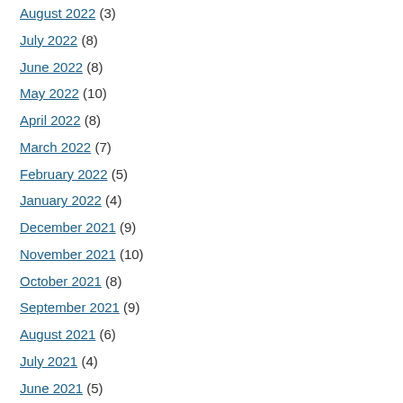August 2022 (3)
July 2022 (8)
June 2022 (8)
May 2022 (10)
April 2022 (8)
March 2022 (7)
February 2022 (5)
January 2022 (4)
December 2021 (9)
November 2021 (10)
October 2021 (8)
September 2021 (9)
August 2021 (6)
July 2021 (4)
June 2021 (5)
May 2021 (5)
April 2021 (4)
March 2021 (5)
February 2021 (6)